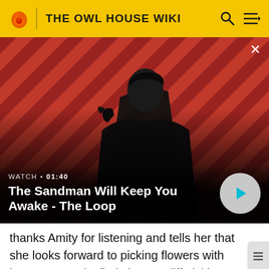THE OWL HOUSE WIKI
[Figure (screenshot): Video thumbnail for 'The Sandman Will Keep You Awake - The Loop'. Shows a dark figure with a crow on shoulder against a red and black diagonal striped background. Overlay shows WATCH • 01:40 label and a play button.]
WATCH • 01:40
The Sandman Will Keep You Awake - The Loop
thanks Amity for listening and tells her that she looks forward to picking flowers with her. Later, Amity finds h on a cliff picking flowers. She asks her if she had found any good ones, to which she replies that she hasn't, and Amity attempts to conjure up some with a plant glyph